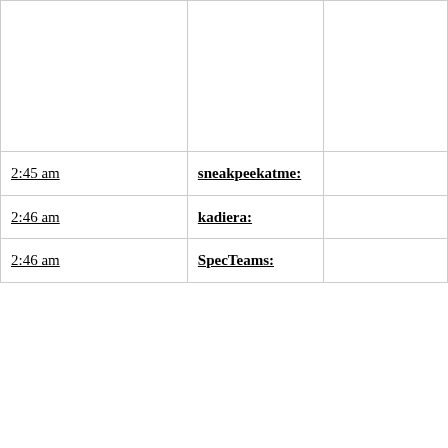| Time | User | Content |
| --- | --- | --- |
|  |  |  |
| 2:45 am | sneakpeekatme: |  |
| 2:46 am | kadiera: |  |
| 2:46 am | SpecTeams: |  |